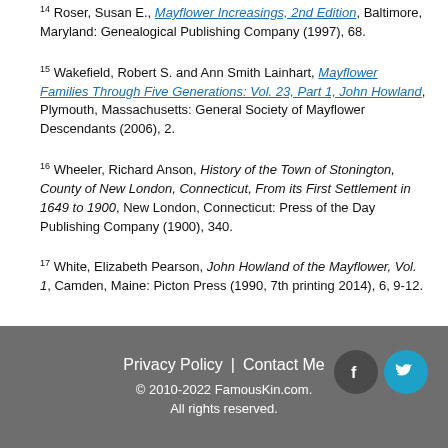14 Roser, Susan E., Mayflower Increasings, 2nd Edition, Baltimore, Maryland: Genealogical Publishing Company (1997), 68.
15 Wakefield, Robert S. and Ann Smith Lainhart, Mayflower Families Through Five Generations: Vol. 23, Part 1, John Howland, Plymouth, Massachusetts: General Society of Mayflower Descendants (2006), 2.
16 Wheeler, Richard Anson, History of the Town of Stonington, County of New London, Connecticut, From its First Settlement in 1649 to 1900, New London, Connecticut: Press of the Day Publishing Company (1900), 340.
17 White, Elizabeth Pearson, John Howland of the Mayflower, Vol. 1, Camden, Maine: Picton Press (1990, 7th printing 2014), 6, 9-12.
Privacy Policy | Contact Me © 2010-2022 FamousKin.com. All rights reserved.